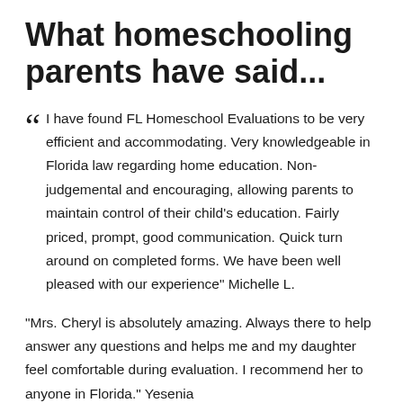What homeschooling parents have said...
“ I have found FL Homeschool Evaluations to be very efficient and accommodating. Very knowledgeable in Florida law regarding home education. Non-judgemental and encouraging, allowing parents to maintain control of their child's education. Fairly priced, prompt, good communication. Quick turn around on completed forms. We have been well pleased with our experience" Michelle L.
"Mrs. Cheryl is absolutely amazing. Always there to help answer any questions and helps me and my daughter feel comfortable during evaluation. I recommend her to anyone in Florida." Yesenia
"I am so glad I chose Cheryl to evaluate my children. We finished our first homeschooling year in October, and Cheryl made the process painless, and has made me even more excited to homeschool my kids this year. I was so nervous leading up to the